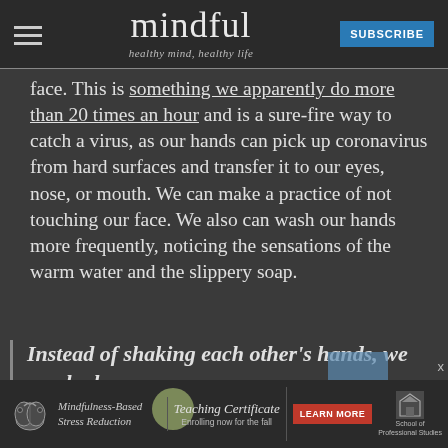mindful — healthy mind, healthy life
face. This is something we apparently do more than 20 times an hour and is a sure-fire way to catch a virus, as our hands can pick up coronavirus from hard surfaces and transfer it to our eyes, nose, or mouth. We can make a practice of not touching our face. We also can wash our hands more frequently, noticing the sensations of the warm water and the slippery soap.
Instead of shaking each other's hands, we can look
[Figure (advertisement): Mindfulness-Based Stress Reduction Teaching Certificate ad with brain illustration and school logo]